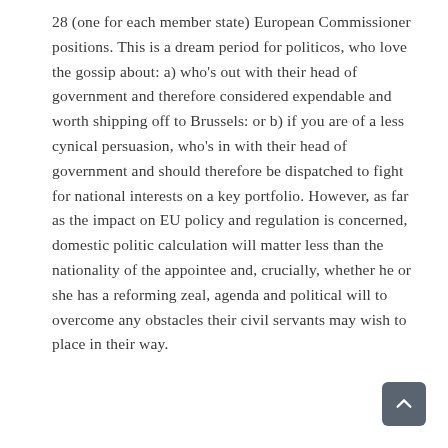28 (one for each member state) European Commissioner positions. This is a dream period for politicos, who love the gossip about: a) who's out with their head of government and therefore considered expendable and worth shipping off to Brussels: or b) if you are of a less cynical persuasion, who's in with their head of government and should therefore be dispatched to fight for national interests on a key portfolio. However, as far as the impact on EU policy and regulation is concerned, domestic politic calculation will matter less than the nationality of the appointee and, crucially, whether he or she has a reforming zeal, agenda and political will to overcome any obstacles their civil servants may wish to place in their way.